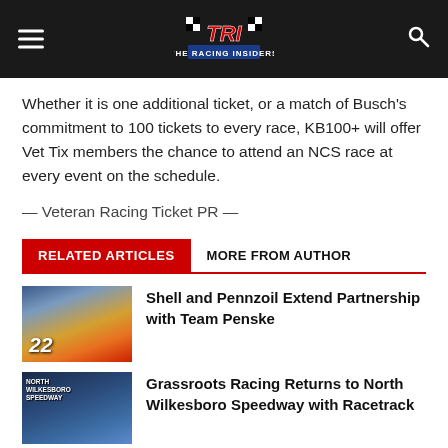TRI - The Racing Insiders
Whether it is one additional ticket, or a match of Busch's commitment to 100 tickets to every race, KB100+ will offer Vet Tix members the chance to attend an NCS race at every event on the schedule.
— Veteran Racing Ticket PR —
RELATED ARTICLES  MORE FROM AUTHOR
[Figure (photo): Race car #22 yellow Shell/Pennzoil car with driver celebrating, crowd in background]
Shell and Pennzoil Extend Partnership with Team Penske
[Figure (photo): North Wilkesboro Speedway sign with people in background]
Grassroots Racing Returns to North Wilkesboro Speedway with Racetrack